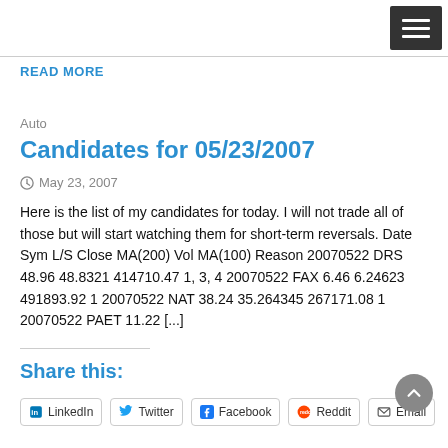READ MORE
Auto
Candidates for 05/23/2007
May 23, 2007
Here is the list of my candidates for today. I will not trade all of those but will start watching them for short-term reversals. Date Sym L/S Close MA(200) Vol MA(100) Reason 20070522 DRS 48.96 48.8321 414710.47 1, 3, 4 20070522 FAX 6.46 6.24623 491893.92 1 20070522 NAT 38.24 35.264345 267171.08 1 20070522 PAET 11.22 [...]
Share this:
LinkedIn  Twitter  Facebook  Reddit  Email